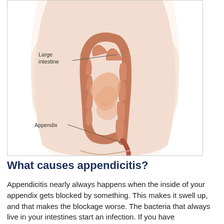[Figure (illustration): Medical illustration showing the human abdomen with the large intestine and appendix labeled. The large intestine is shown in pink/salmon color with the appendix hanging below. Lines with labels point to 'Large intestine' and 'Appendix'.]
What causes appendicitis?
Appendicitis nearly always happens when the inside of your appendix gets blocked by something. This makes it swell up, and that makes the blockage worse. The bacteria that always live in your intestines start an infection. If you have appendicitis, there is a serious risk that your appendix may burst. This can happen as soon as 48 to 72 hours after you start having symptoms. Because of this, appendicitis is a medical emergency. If you have symptoms, see your healthcare provider right